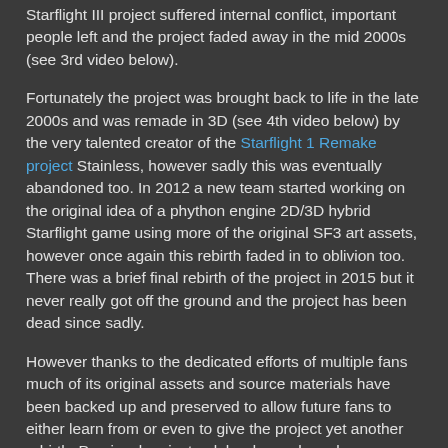Starflight III project suffered internal conflict, important people left and the project faded away in the mid 2000s (see 3rd video below).
Fortunately the project was brought back to life in the late 2000s and was remade in 3D (see 4th video below) by the very talented creator of the Starflight 1 Remake project Stainless, however sadly this was eventually abandoned too. In 2012 a new team started working on the original idea of a phython engine 2D/3D hybrid Starflight game using more of the original SF3 art assets, however once again this rebirth faded in to oblivion too. There was a brief final rebirth of the project in 2015 but it never really got off the ground and the project has been dead since sadly.
However thanks to the dedicated efforts of multiple fans much of its original assets and source materials have been backed up and preserved to allow future fans to either learn from or even to give the project yet another rebirth. Previously private alpha demos have been compiled and made public for fans to see just how much cool work was done. See more below...
Official Project Description:
"The Starflight III project is composed of fans and originally several of the SF/SF2 authors. We are making no profit from this game, as we are distributing it for free and creating it in our own spare time. There are no legal problems in the way of this project, as we have the permission and support of the Binary Systems owner, so we are making and will finish the